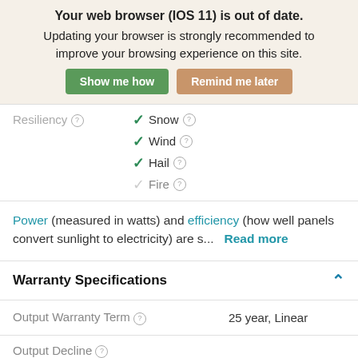Your web browser (iOS 11) is out of date. Updating your browser is strongly recommended to improve your browsing experience on this site.
Show me how | Remind me later
Resiliency ⓘ  Snow ⓘ  Wind ⓘ  Hail ⓘ  Fire ⓘ
Power (measured in watts) and efficiency (how well panels convert sunlight to electricity) are s...  Read more
Warranty Specifications
| Label | Value |
| --- | --- |
| Output Warranty Term ⓘ | 25 year, Linear |
| Output Decline ⓘ |  |
| Year 1 | 2.5% |
| Years 2 to 25 | 0.55% |